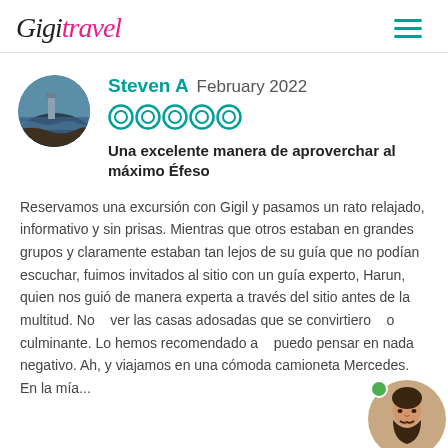Gigi Travel
Steven A  February 2022
[Figure (other): Five teal circle rating icons (full rating)]
Una excelente manera de aproverchar al máximo Éfeso
Reservamos una excursión con Gigil y pasamos un rato relajado, informativo y sin prisas. Mientras que otros estaban en grandes grupos y claramente estaban tan lejos de su guía que no podían escuchar, fuimos invitados al sitio con un guía experto, Harun, quien nos guió de manera experta a través del sitio antes de la multitud. No... ver las casas adosadas que se convirtiero... o culminante. Lo hemos recomendado a ... puedo pensar en nada negativo. Ah, y viajamos en una cómoda camioneta Mercedes. En la mía...